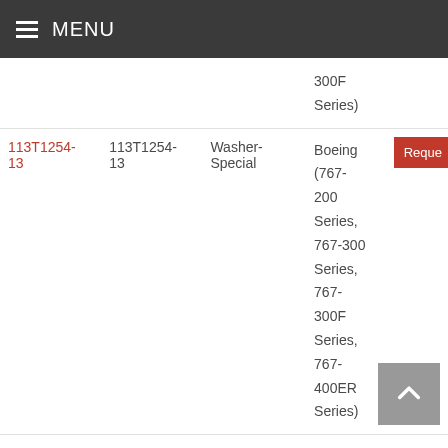MENU
| Part Link | Part Number | Description | Applicability | Action |
| --- | --- | --- | --- | --- |
|  |  |  | 300F Series) |  |
| 113T1254-13 | 113T1254-13 | Washer-Special | Boeing (767-200 Series, 767-300 Series, 767-300F Series, 767-400ER Series) | Reque... |